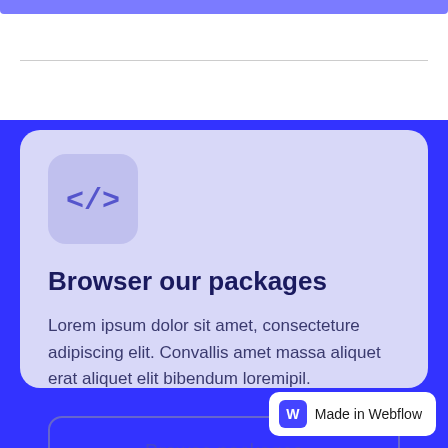[Figure (screenshot): Top section showing a light purple horizontal bar and a horizontal divider line on white background]
[Figure (illustration): Code icon box with </> symbol in a rounded square, purple tinted]
Browser our packages
Lorem ipsum dolor sit amet, consecteture adipiscing elit. Convallis amet massa aliquet erat aliquet elit bibendum loremipil.
Browse packages
Made in Webflow